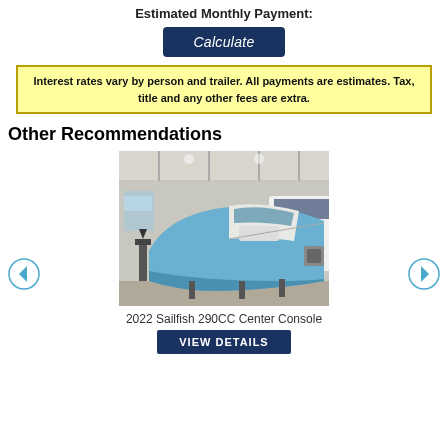Estimated Monthly Payment:
Calculate
Interest rates vary by person and trailer. All payments are estimates. Tax, title and any other fees are extra.
Other Recommendations
[Figure (photo): A blue and white boat (Sailfish 290CC Center Console) stored inside a large indoor marina/warehouse. The boat is light blue on the hull with a white upper structure. Other boats visible in background.]
2022 Sailfish 290CC Center Console
VIEW DETAILS